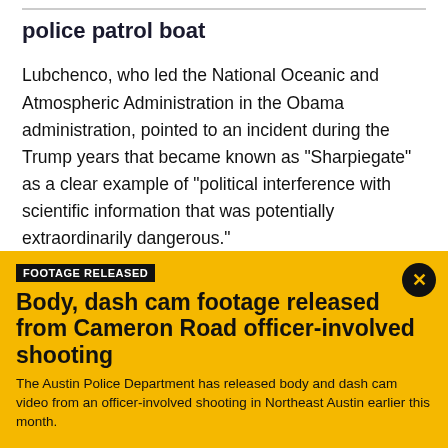police patrol boat
Lubchenco, who led the National Oceanic and Atmospheric Administration in the Obama administration, pointed to an incident during the Trump years that became known as "Sharpiegate" as a clear example of "political interference with scientific information that was potentially extraordinarily dangerous."
During Sharpiegate, the NOAA reprimanded some
FOOTAGE RELEASED
Body, dash cam footage released from Cameron Road officer-involved shooting
The Austin Police Department has released body and dash cam video from an officer-involved shooting in Northeast Austin earlier this month.